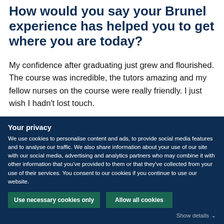How would you say your Brunel experience has helped you to get where you are today?
My confidence after graduating just grew and flourished. The course was incredible, the tutors amazing and my fellow nurses on the course were really friendly. I just wish I hadn't lost touch.
Your privacy
We use cookies to personalise content and ads, to provide social media features and to analyse our traffic. We also share information about your use of our site with our social media, advertising and analytics partners who may combine it with other information that you've provided to them or that they've collected from your use of their services. You consent to our cookies if you continue to use our website.
Use necessary cookies only
Allow all cookies
Show details